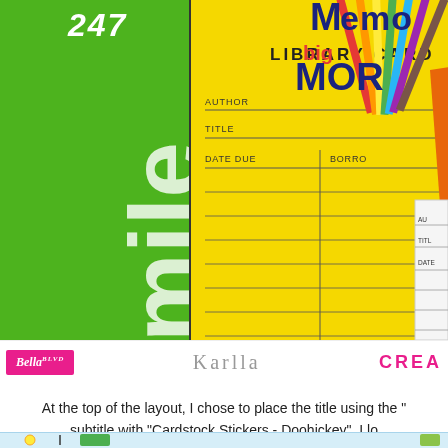[Figure (photo): Close-up photo of colorful library-themed cards and stickers including a green card with 'smile' text and '247', a yellow library card with AUTHOR/TITLE/DATE DUE/BORROWER fields, an orange card with '365' and 'learn' text, colorful pencils in top right, and a partial white library card on the right edge.]
Bella BLVD    Karlla    CREA
At the top of the layout, I chose to place the title using the "subtitle with "Cardstock Stickers - Doohickey". I lo